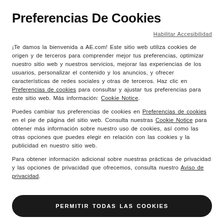Preferencias De Cookies
Habilitar Accesibilidad
¡Te damos la bienvenida a AE.com! Este sitio web utiliza cookies de origen y de terceros para comprender mejor tus preferencias, optimizar nuestro sitio web y nuestros servicios, mejorar las experiencias de los usuarios, personalizar el contenido y los anuncios, y ofrecer características de redes sociales y otras de terceros. Haz clic en Preferencias de cookies para consultar y ajustar tus preferencias para este sitio web. Más información: Cookie Notice.
Puedes cambiar tus preferencias de cookies en Preferencias de cookies en el pie de página del sitio web. Consulta nuestras Cookie Notice para obtener más información sobre nuestro uso de cookies, así como las otras opciones que puedes elegir en relación con las cookies y la publicidad en nuestro sitio web.
Para obtener información adicional sobre nuestras prácticas de privacidad y las opciones de privacidad que ofrecemos, consulta nuestro Aviso de privacidad.
PERMITIR TODAS LAS COOKIES